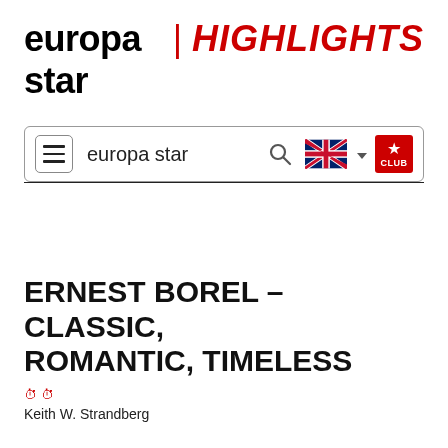europa star | HIGHLIGHTS
[Figure (screenshot): Navigation bar with hamburger menu, 'europa star' brand text, search icon, UK flag with dropdown arrow, and red CLUB badge with star]
ERNEST BOREL – CLASSIC, ROMANTIC, TIMELESS
⏱️
Keith W. Strandberg